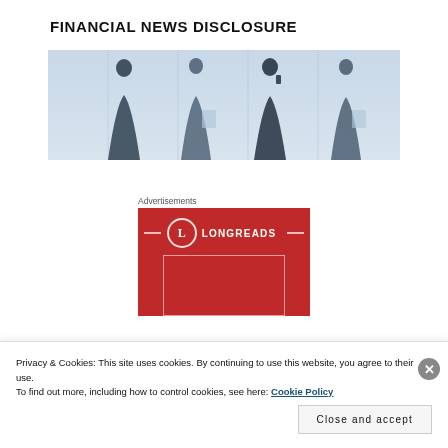FINANCIAL NEWS DISCLOSURE
[Figure (photo): Silhouettes of four business professionals standing in a bright, blurred interior space]
Advertisements
[Figure (logo): Longreads advertisement banner with red background, white circle L logo, and 'LONGREADS' wordmark with decorative lines and a rectangular frame]
Privacy & Cookies: This site uses cookies. By continuing to use this website, you agree to their use.
To find out more, including how to control cookies, see here: Cookie Policy
Close and accept